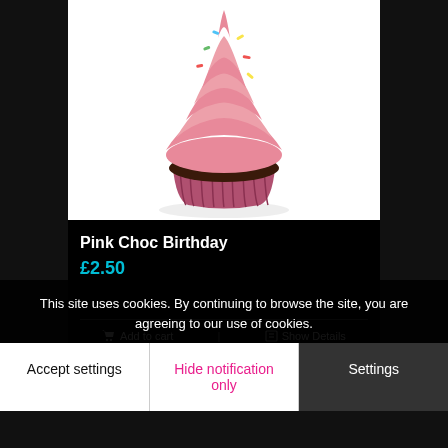[Figure (photo): A pink frosted birthday cupcake with sprinkles in a pink wrapper, on a white background]
Pink Choc Birthday
£2.50
Add to cart   Show Details
This site uses cookies. By continuing to browse the site, you are agreeing to our use of cookies.
Accept settings   Hide notification only   Settings